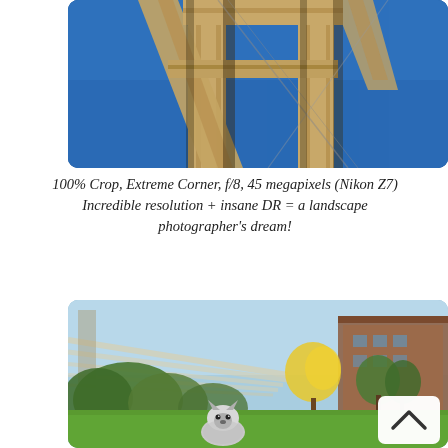[Figure (photo): Close-up upward view of bridge steel structural beams and cables against a deep blue sky, cropped to show extreme corner detail]
100% Crop, Extreme Corner, f/8, 45 megapixels (Nikon Z7) Incredible resolution + insane DR = a landscape photographer's dream!
[Figure (photo): Outdoor scene with a suspension bridge in the background, green bushes and yellow flowering trees in a park, a small Husky puppy in the foreground on green grass, brick building visible to the right, with a back-to-top button overlay in bottom right]